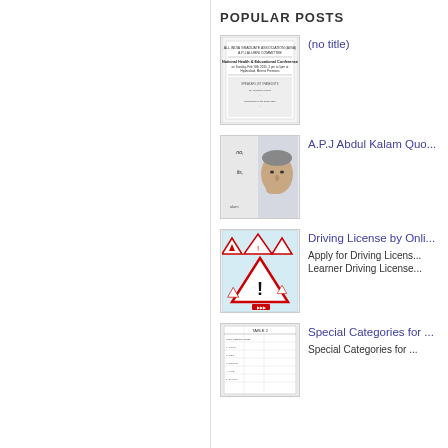POPULAR POSTS
[Figure (photo): Thumbnail image of a conference document/flyer for National Health & Educational Conference]
(no title)
[Figure (illustration): Thumbnail image of A.P.J Abdul Kalam illustrated portrait with text]
A.P.J Abdul Kalam Quo...
[Figure (photo): Thumbnail image of driving license warning signs/triangles]
Driving License by Onli...
Apply for Driving Licens... Learner Driving License...
[Figure (table-as-image): Thumbnail image of a table listing special categories]
Special Categories for ...
Special Categories for ...